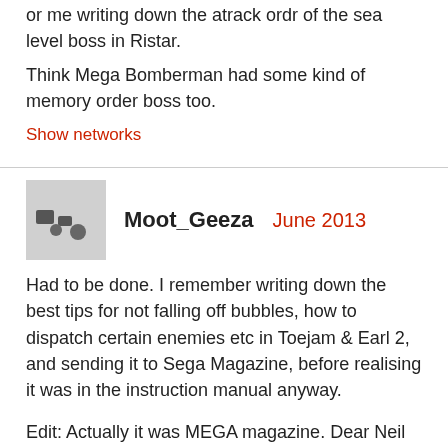or me writing down the atrack ordr of the sea level boss in Ristar.
Think Mega Bomberman had some kind of memory order boss too.
Show networks
Moot_Geeza   June 2013
Had to be done.  I remember writing down the best tips for not falling off bubbles, how to dispatch certain enemies etc in Toejam & Earl 2, and sending it to Sega Magazine, before realising it was in the instruction manual anyway.

Edit: Actually it was MEGA magazine.  Dear Neil West etc.
Show networks
JonB   June 2013
Just given up on Battletoads (MD version), because, well, it's a bit shit really. I'd finished the ice level (4?), and started the surf board one, but that was enough.

Plenty of nice ideas, but it's mostly learn by rote gameplay when it comes down to it. Save state, get killed by something unforseeable, load state, do